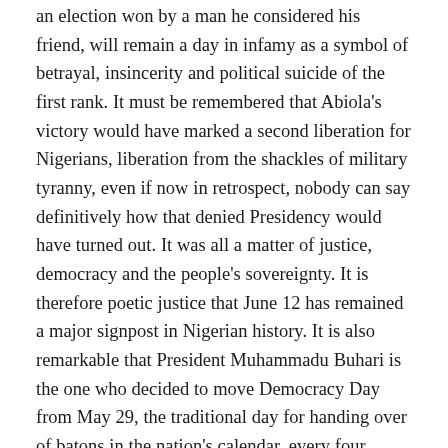an election won by a man he considered his friend, will remain a day in infamy as a symbol of betrayal, insincerity and political suicide of the first rank. It must be remembered that Abiola's victory would have marked a second liberation for Nigerians, liberation from the shackles of military tyranny, even if now in retrospect, nobody can say definitively how that denied Presidency would have turned out. It was all a matter of justice, democracy and the people's sovereignty. It is therefore poetic justice that June 12 has remained a major signpost in Nigerian history. It is also remarkable that President Muhammadu Buhari is the one who decided to move Democracy Day from May 29, the traditional day for handing over of batons in the nation's calendar, every four years, to June 12, to remind all Nigerians of the significance of that date. This will form a major substance of Buhari's legacy, at the level of simple commonsense, if not any heavy substance.